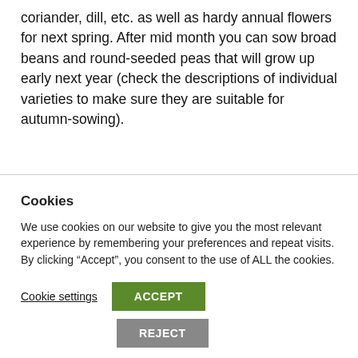coriander, dill, etc. as well as hardy annual flowers for next spring. After mid month you can sow broad beans and round-seeded peas that will grow up early next year (check the descriptions of individual varieties to make sure they are suitable for autumn-sowing).
Cookies
We use cookies on our website to give you the most relevant experience by remembering your preferences and repeat visits. By clicking “Accept”, you consent to the use of ALL the cookies.
Cookie settings  ACCEPT  REJECT